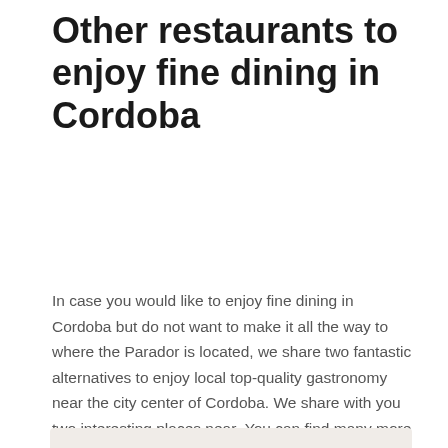Other restaurants to enjoy fine dining in Cordoba
In case you would like to enjoy fine dining in Cordoba but do not want to make it all the way to where the Parador is located, we share two fantastic alternatives to enjoy local top-quality gastronomy near the city center of Cordoba. We share with you two interesting places near  You can find many more places to eat in Cordoba in our Cordoba restaurant guide.
[Figure (photo): A fine dining dish on a white plate with microgreens and garnish]